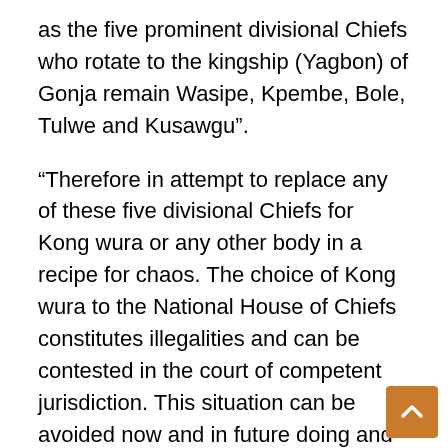as the five prominent divisional Chiefs who rotate to the kingship (Yagbon) of Gonja remain Wasipe, Kpembe, Bole, Tulwe and Kusawgu”.
“Therefore in attempt to replace any of these five divisional Chiefs for Kong wura or any other body in a recipe for chaos. The choice of Kong wura to the National House of Chiefs constitutes illegalities and can be contested in the court of competent jurisdiction. This situation can be avoided now and in future doing and instituting the right thing”; the petition stated.
It added; “We wish to humbly recommend and solicit the indulgence of the president of Gonja